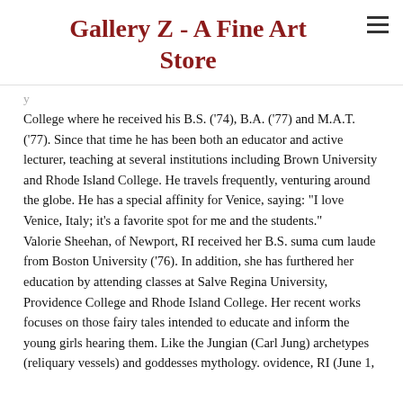Gallery Z - A Fine Art Store
College where he received his B.S. ('74), B.A. ('77) and M.A.T. ('77). Since that time he has been both an educator and active lecturer, teaching at several institutions including Brown University and Rhode Island College. He travels frequently, venturing around the globe. He has a special affinity for Venice, saying: "I love Venice, Italy; it's a favorite spot for me and the students." Valorie Sheehan, of Newport, RI received her B.S. suma cum laude from Boston University ('76). In addition, she has furthered her education by attending classes at Salve Regina University, Providence College and Rhode Island College. Her recent works focuses on those fairy tales intended to educate and inform the young girls hearing them. Like the Jungian (Carl Jung) archetypes (reliquary vessels) and goddesses mythology. ovidence, RI (June 1,